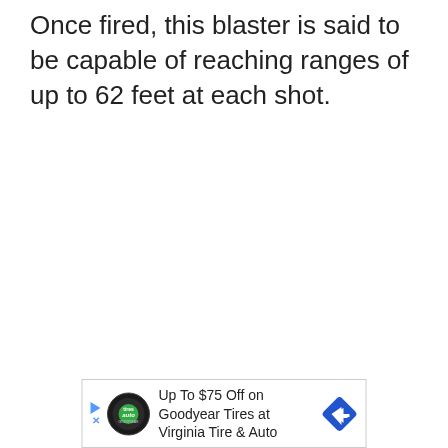Once fired, this blaster is said to be capable of reaching ranges of up to 62 feet at each shot.
[Figure (other): Advertisement banner: 'Up To $75 Off on Goodyear Tires at Virginia Tire & Auto' with Tires Plus Auto logo and Goodyear arrow logo]